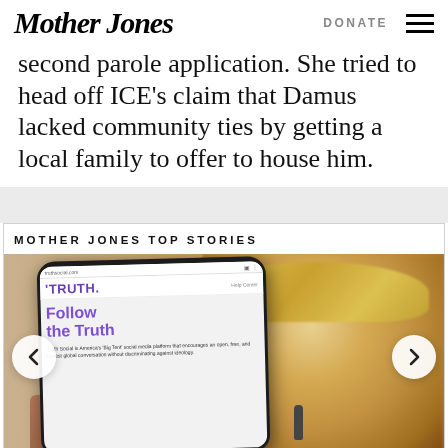Mother Jones | DONATE
second parole application. She tried to head off ICE's claim that Damus lacked community ties by getting a local family to offer to house him.
MOTHER JONES TOP STORIES
[Figure (photo): A hand holding a smartphone displaying the Truth Social app with 'Follow the Truth' text and a blurred image of Donald Trump speaking into a microphone in the background. Navigation arrows visible on left and right sides of the image.]